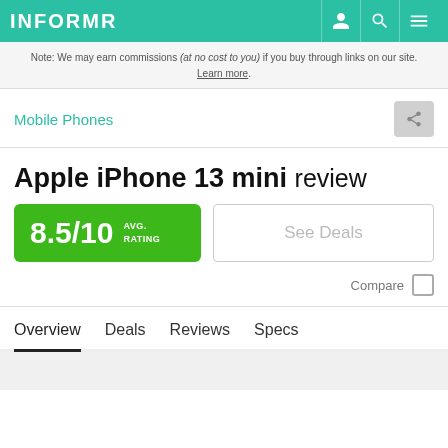INFORMR
Note: We may earn commissions (at no cost to you) if you buy through links on our site. Learn more.
Mobile Phones
Apple iPhone 13 mini review
8.5/10 AVG. RATING
See Deals
Compare
Overview  Deals  Reviews  Specs